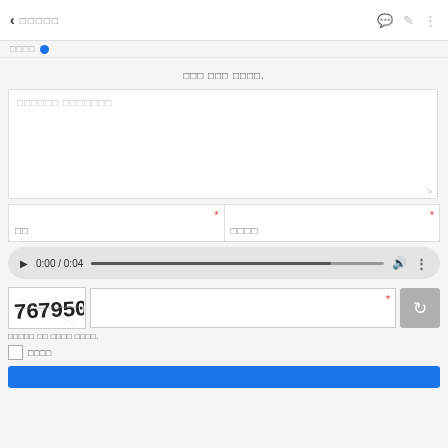◀ □□□□□
□□□ ✓
□□□ □□□ □□□□.
□□□□□□ □□□□□□□
□□ *
□□□□ *
[Figure (screenshot): Audio player showing 0:00 / 0:04 with progress bar, volume icon, and more options]
[Figure (screenshot): CAPTCHA image showing distorted text '767950']
* (captcha input field)
□□□□□ □□ □□□□ □□□□.
□□□□
(submit button)